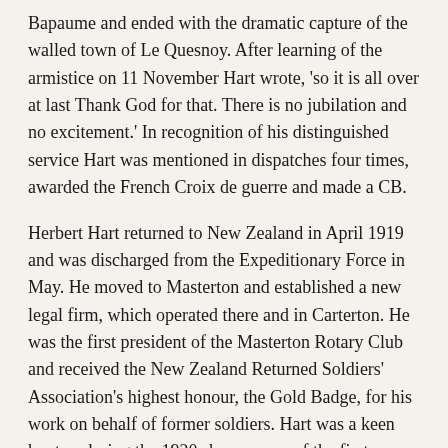Bapaume and ended with the dramatic capture of the walled town of Le Quesnoy. After learning of the armistice on 11 November Hart wrote, 'so it is all over at last Thank God for that. There is no jubilation and no excitement.' In recognition of his distinguished service Hart was mentioned in dispatches four times, awarded the French Croix de guerre and made a CB.
Herbert Hart returned to New Zealand in April 1919 and was discharged from the Expeditionary Force in May. He moved to Masterton and established a new legal firm, which operated there and in Carterton. He was the first president of the Masterton Rotary Club and received the New Zealand Returned Soldiers' Association's highest honour, the Gold Badge, for his work on behalf of former soldiers. Hart was a keen hunter; during the 1920s he was one of the first people to hunt wapiti in the South Island. He also travelled to central Africa on a hunting expedition.
Hart commanded the 2nd New Zealand Infantry...